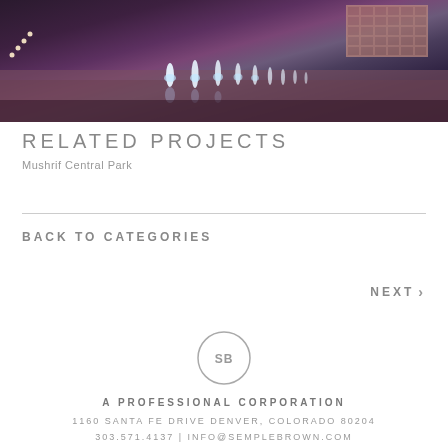[Figure (photo): Night-time photo of illuminated water fountains in a row on a plaza, with steps lit on the left and a glass building visible in the background on the right]
RELATED PROJECTS
Mushrif Central Park
BACK TO CATEGORIES
NEXT >
[Figure (logo): Circular logo with letters SB inside]
A PROFESSIONAL CORPORATION
1160 SANTA FE DRIVE DENVER, COLORADO 80204
303.571.4137 | INFO@SEMPLE RBROWN.COM